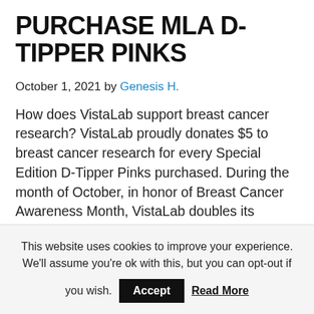PURCHASE MLA D-TIPPER PINKS
October 1, 2021 by Genesis H.
How does VistaLab support breast cancer research? VistaLab proudly donates $5 to breast cancer research for every Special Edition D-Tipper Pinks purchased. During the month of October, in honor of Breast Cancer Awareness Month, VistaLab doubles its donation to $10 per Pinks pipette purchased. Who does my purchase benefit? This year VistaLab will donate to Masscot Cho...
This website uses cookies to improve your experience. We'll assume you're ok with this, but you can opt-out if you wish.
Accept
Read More